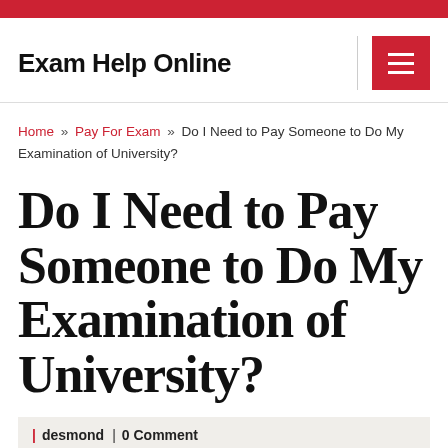Exam Help Online
Home » Pay For Exam » Do I Need to Pay Someone to Do My Examination of University?
Do I Need to Pay Someone to Do My Examination of University?
| desmond | 0 Comment